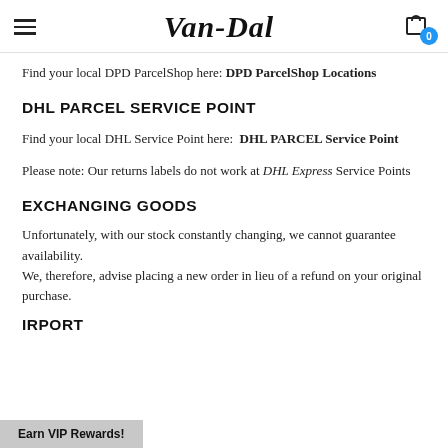Van-Dal
Find your local DPD ParcelShop here: DPD ParcelShop Locations
DHL PARCEL SERVICE POINT
Find your local DHL Service Point here: DHL PARCEL Service Point
Please note: Our returns labels do not work at DHL Express Service Points
EXCHANGING GOODS
Unfortunately, with our stock constantly changing, we cannot guarantee availability.
We, therefore, advise placing a new order in lieu of a refund on your original purchase.
IRPORT
Earn VIP Rewards!